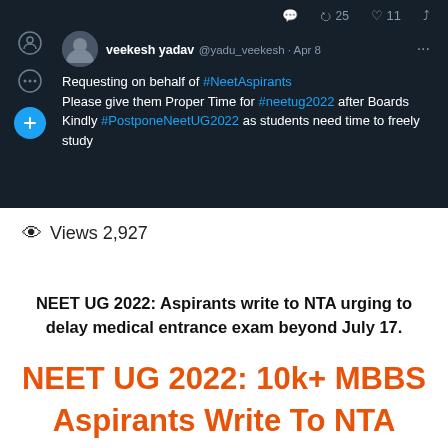[Figure (screenshot): Twitter/X screenshot showing a tweet by veekesh yadav (@yadu_veekesh) dated Apr 8, requesting on behalf of #NeetAspirants to give them Proper Time for #neetug2022 after Boards and to #PostponeNeetUG2022 as students need time to freely study. Tweet has 25 retweets and 11 likes.]
Views 2,927
NEET UG 2022: Aspirants write to NTA urging to delay medical entrance exam beyond July 17.
NEET UG 2022: 10k+ MBBS Aspirants Write To NTA Demanding Postponement